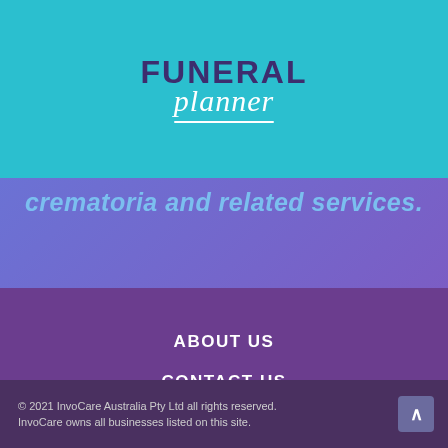[Figure (logo): Funeral Planner logo on teal/cyan background. FUNERAL in dark purple bold uppercase, planner in white italic cursive with underline.]
crematoria and related services.
ABOUT US
CONTACT US
TERMS AND CONDITIONS
PRIVACY POLICY
© 2021 InvoCare Australia Pty Ltd all rights reserved. InvoCare owns all businesses listed on this site.